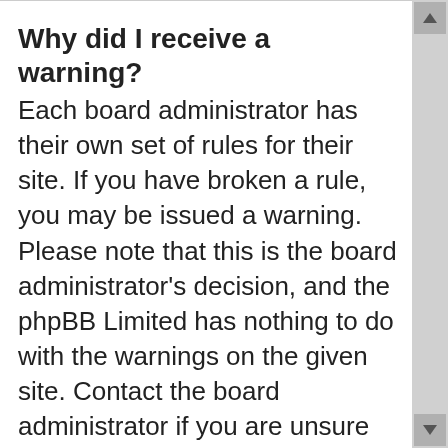Why did I receive a warning?
Each board administrator has their own set of rules for their site. If you have broken a rule, you may be issued a warning. Please note that this is the board administrator’s decision, and the phpBB Limited has nothing to do with the warnings on the given site. Contact the board administrator if you are unsure about why you were issued a warning.